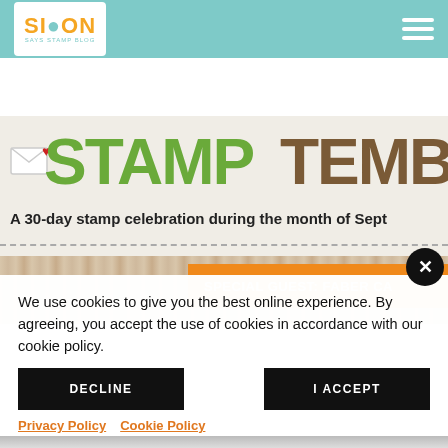Simon Says Stamp Blog - header navigation with logo and hamburger menu
[Figure (illustration): Stamptember promotional banner showing large green and brown text 'STAMPTEMBER', subtitle 'A 30-day stamp celebration during the month of Sept', dashed separator line, wood-grain background, and orange 'SPECIAL GUEST: FABER CA...' bar]
We use cookies to give you the best online experience. By agreeing, you accept the use of cookies in accordance with our cookie policy.
DECLINE
I ACCEPT
Privacy Policy   Cookie Policy